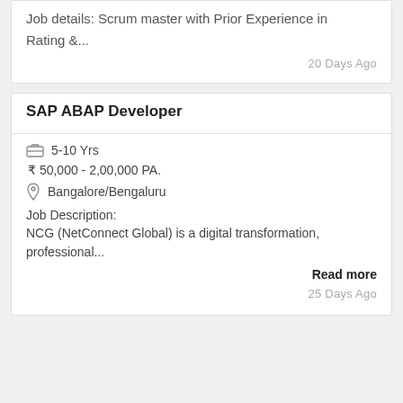Job details: Scrum master with Prior Experience in Rating &...
20 Days Ago
SAP ABAP Developer
5-10 Yrs
₹ 50,000 - 2,00,000 PA.
Bangalore/Bengaluru
Job Description:
NCG (NetConnect Global) is a digital transformation, professional...
Read more
25 Days Ago